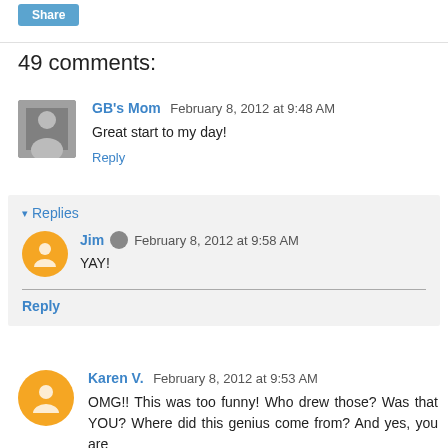Share
49 comments:
GB's Mom  February 8, 2012 at 9:48 AM
Great start to my day!
Reply
▾ Replies
Jim  February 8, 2012 at 9:58 AM
YAY!
Reply
Karen V.  February 8, 2012 at 9:53 AM
OMG!! This was too funny! Who drew those? Was that YOU? Where did this genius come from? And yes, you are